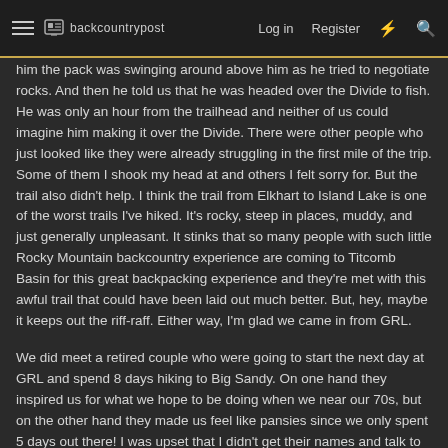backcountrypost | Log in | Register
him the pack was swinging around above him as he tried to negotiate rocks. And then he told us that he was headed over the Divide to fish. He was only an hour from the trailhead and neither of us could imagine him making it over the Divide. There were other people who just looked like they were already struggling in the first mile of the trip. Some of them I shook my head at and others I felt sorry for. But the trail also didn't help. I think the trail from Elkhart to Island Lake is one of the worst trails I've hiked. It's rocky, steep in places, muddy, and just generally unpleasant. It stinks that so many people with such little Rocky Mountain backcountry experience are coming to Titcomb Basin for this great backpacking experience and they're met with this awful trail that could have been laid out much better. But, hey, maybe it keeps out the riff-raff. Either way, I'm glad we came in from GRL.
We did meet a retired couple who were going to start the next day at GRL and spend 8 days hiking to Big Sandy. On one hand they inspired us for what we hope to be doing when we near our 70s, but on the other hand they made us feel like pansies since we only spent 5 days out there! I was upset that I didn't get their names and talk to them more about how they're living their